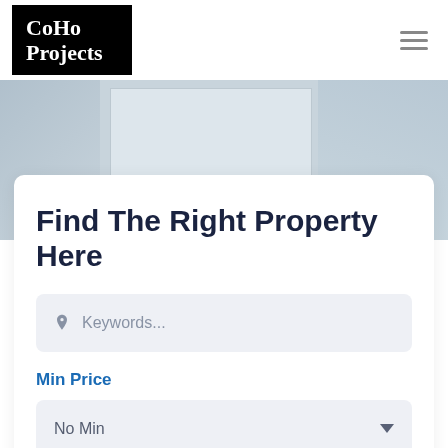[Figure (logo): CoHo Projects logo — white serif text on black background]
[Figure (infographic): Hamburger menu icon (three horizontal lines)]
[Figure (photo): Hero background image showing architectural/property photography in muted blue-gray tones]
Find The Right Property Here
[Figure (infographic): Keywords search input field with pin/location icon and placeholder text 'Keywords...']
Min Price
[Figure (infographic): Dropdown selector showing 'No Min' with a down arrow]